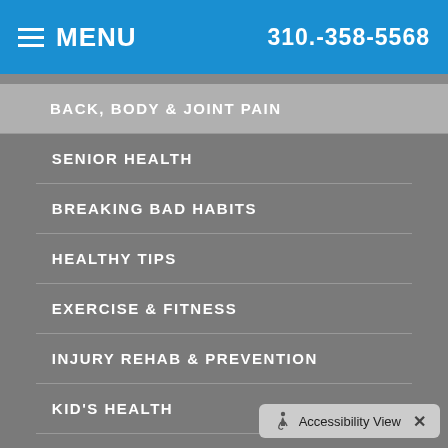MENU  310.-358-5568
BACK, BODY & JOINT PAIN
SENIOR HEALTH
BREAKING BAD HABITS
HEALTHY TIPS
EXERCISE & FITNESS
INJURY REHAB & PREVENTION
KID'S HEALTH
ILLNESS PREVENTION
Accessibility View